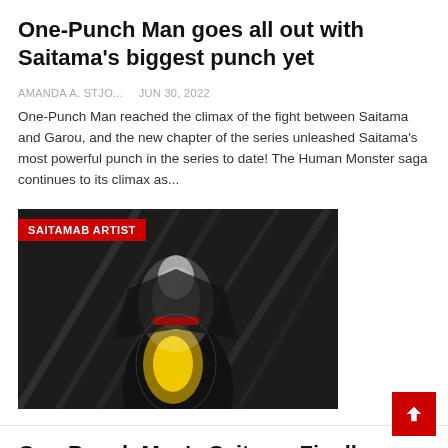One-Punch Man goes all out with Saitama's biggest punch yet
AMANDA A. STJO...   Jun 30, 2022
One-Punch Man reached the climax of the fight between Saitama and Garou, and the new chapter of the series unleashed Saitama's most powerful punch in the series to date! The Human Monster saga continues to its climax as...
[Figure (photo): Stylized image of a glowing hero figure (Saitama) in a dark background with a red badge reading 'SAITAMAB ARTIST']
One-Punch Man's Saitama Finally Admits He's Not A Hero
AMANDA A. STJO...   Jun 29, 2022
One-Punch Man's Saitama must finally admit he's no hero, as his big failure proves he's missing what's most important for the role. Warning...